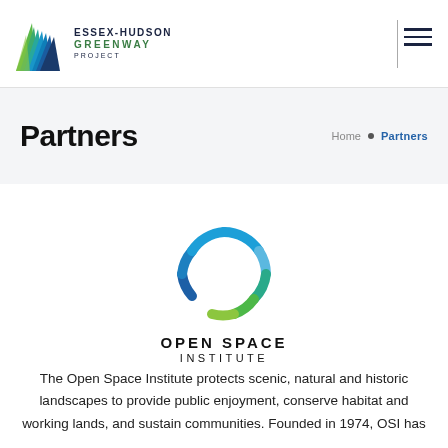Essex-Hudson Greenway Project
Partners
Home • Partners
[Figure (logo): Open Space Institute logo — a ring made of blue, teal, and green arc segments with the text OPEN SPACE INSTITUTE below]
The Open Space Institute protects scenic, natural and historic landscapes to provide public enjoyment, conserve habitat and working lands, and sustain communities. Founded in 1974, OSI has